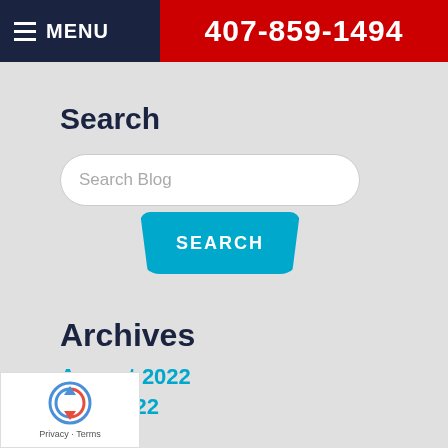MENU  407-859-1494
Search
Search Blog
SEARCH
Archives
August 2022
July 2022
[Figure (other): reCAPTCHA badge with Privacy and Terms links]